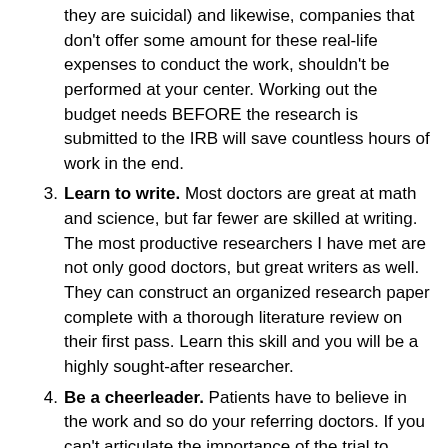they are suicidal) and likewise, companies that don't offer some amount for these real-life expenses to conduct the work, shouldn't be performed at your center. Working out the budget needs BEFORE the research is submitted to the IRB will save countless hours of work in the end.
3. Learn to write. Most doctors are great at math and science, but far fewer are skilled at writing. The most productive researchers I have met are not only good doctors, but great writers as well. They can construct an organized research paper complete with a thorough literature review on their first pass. Learn this skill and you will be a highly sought-after researcher.
4. Be a cheerleader. Patients have to believe in the work and so do your referring doctors. If you can't articulate the importance of the trial to these folks, you'll never be successful. Also, since trials take time, keeping your trial at the forefront of your collegue's minds will be one of the toughest challenges that any young researcher will encounter. Other doctors will not have the passion or commitment for your work, so frequent reminders about your trial (along with follow-up on patients that